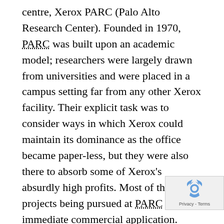centre, Xerox PARC (Palo Alto Research Center). Founded in 1970, PARC was built upon an academic model; researchers were largely drawn from universities and were placed in a campus setting far from any other Xerox facility. Their explicit task was to consider ways in which Xerox could maintain its dominance as the office became paper-less, but they were also there to absorb some of Xerox's absurdly high profits. Most of the projects being pursued at PARC had no immediate commercial application. [293] At PARC John Warnock developed a computer language called Interpress that was able to describe words and pictures to Xerox laser printers. In 1982 he left PARC with his boss Chuck Geschke after having failed to persuade Xerox to develop the language into a commercial project. Together the pair founded Adobe and in 1984 they launched PostScript, effectively an evolved form of Interpress.[294]
[Figure (other): reCAPTCHA widget with recycling-arrow icon and 'Privacy - Terms' text]